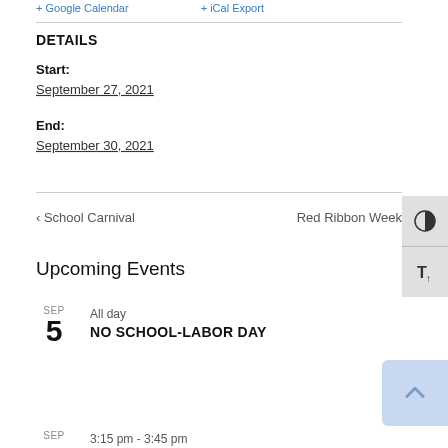+ Google Calendar   + iCal Export
DETAILS
Start:
September 27, 2021
End:
September 30, 2021
< School Carnival
Red Ribbon Week
Upcoming Events
SEP 5 All day NO SCHOOL-LABOR DAY
SEP 3:15 pm - 3:45 pm